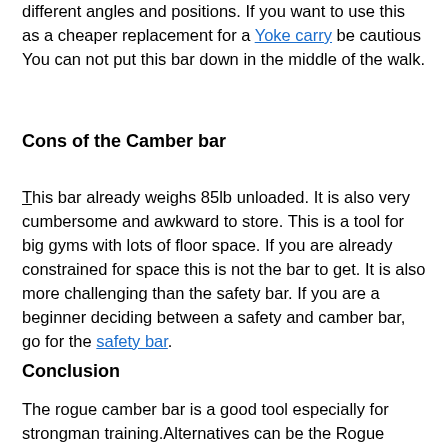different angles and positions. If you want to use this as a cheaper replacement for a Yoke carry be cautious You can not put this bar down in the middle of the walk.
Cons of the Camber bar
This bar already weighs 85lb unloaded. It is also very cumbersome and awkward to store. This is a tool for big gyms with lots of floor space. If you are already constrained for space this is not the bar to get. It is also more challenging than the safety bar. If you are a beginner deciding between a safety and camber bar, go for the safety bar.
Conclusion
The rogue camber bar is a good tool especially for strongman training.Alternatives can be the Rogue safety bar